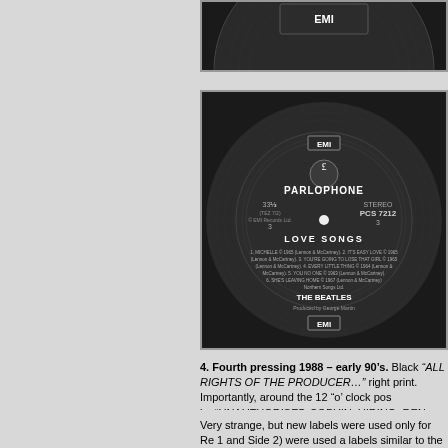[Figure (photo): Top partial photo of a dark vinyl record label with EMI logo at top]
[Figure (photo): Photo of a Parlophone/EMI vinyl record label for The Beatles Love Songs, Side 3, PCS 7212, Stereo, black label with silver/white text]
4. Fourth pressing 1988 – early 90’s. Black “ALL RIGHTS OF THE PRODUCER…” right print. Importantly, around the 12 “o’ clock position is: “UNAUTHORISED COPYIN, HIRING, RENTING, BROADCASTING…”. “MANUFACTURED IN” at the end of the perimeter print. Matrix numbers: YEX 1; Side 4: YEX 974-3-1-1.
Very strange, but new labels were used only for Re 1 and Side 2) were used a labels similar to the labels